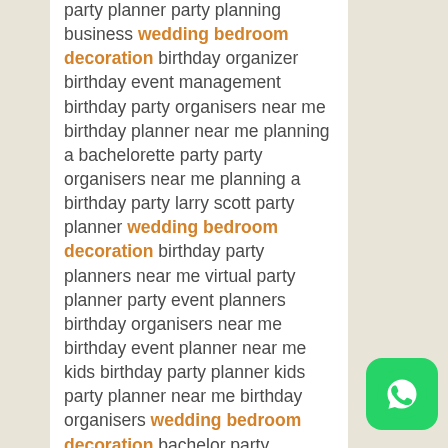party planner party planning business wedding bedroom decoration birthday organizer birthday event management birthday party organisers near me birthday planner near me planning a bachelorette party party organisers near me planning a birthday party larry scott party planner wedding bedroom decoration birthday party planners near me virtual party planner party event planners birthday organisers near me birthday event planner near me kids birthday party planner kids party planner near me birthday organisers wedding bedroom decoration bachelor party planning children's party planner birthday party event management kids party organisers birthday party event planner planning a 40th birthday party planning a surprise party wedding bedroom decoration surprise birthday planners birthday event organisers the party planner party organizers near me
[Figure (logo): WhatsApp logo button — green rounded square with white phone handset speech bubble icon]